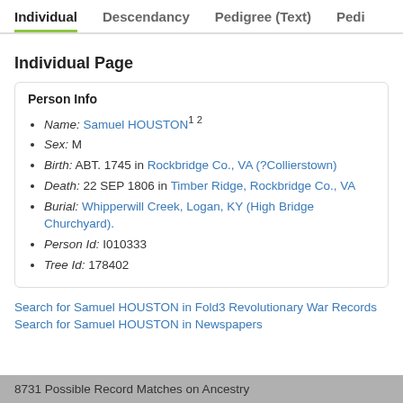Individual  Descendancy  Pedigree (Text)  Pedi
Individual Page
Person Info
Name: Samuel HOUSTON 1 2
Sex: M
Birth: ABT. 1745 in Rockbridge Co., VA (?Collierstown)
Death: 22 SEP 1806 in Timber Ridge, Rockbridge Co., VA
Burial: Whipperwill Creek, Logan, KY (High Bridge Churchyard).
Person Id: I010333
Tree Id: 178402
Search for Samuel HOUSTON in Fold3 Revolutionary War Records
Search for Samuel HOUSTON in Newspapers
8731 Possible Record Matches on Ancestry